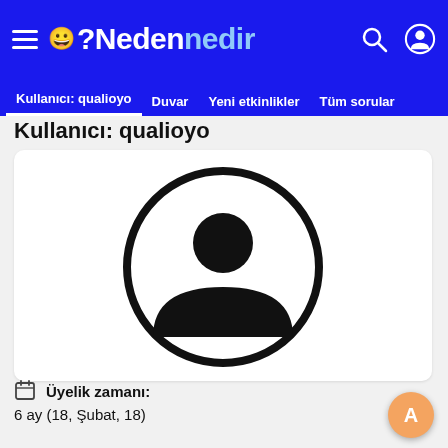?Nedennedir — Kullanıcı: qualioyo | Duvar | Yeni etkinlikler | Tüm sorular
Kullanıcı: qualioyo
[Figure (illustration): Default user avatar: black circle outline with black silhouette of a person (head circle and shoulders arc) in the center]
Üyelik zamanı:
6 ay (18, Şubat, 18)